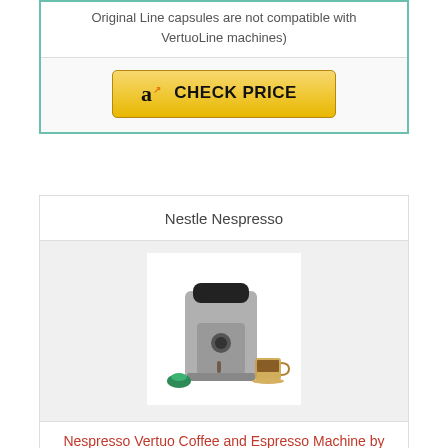Original Line capsules are not compatible with VertuoLine machines)
[Figure (other): Amazon CHECK PRICE button with Amazon logo]
Nestle Nespresso
[Figure (photo): Nespresso Vertuo coffee machine in black/chrome with green capsule and coffee cup]
Nespresso Vertuo Coffee and Espresso Machine by De'Longhi, Piano Black